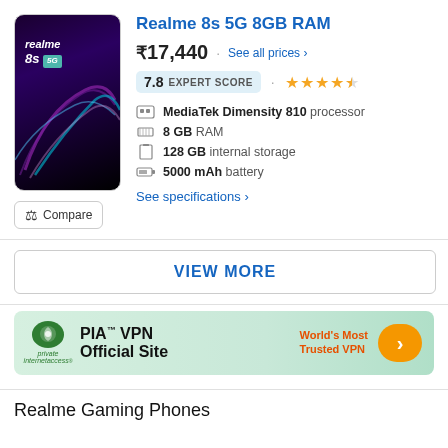Realme 8s 5G 8GB RAM
₹17,440 · See all prices ›
7.8 EXPERT SCORE · ★★★★½
MediaTek Dimensity 810 processor
8 GB RAM
128 GB internal storage
5000 mAh battery
See specifications ›
VIEW MORE
[Figure (screenshot): PIA VPN advertisement banner - PIA™ VPN Official Site, World's Most Trusted VPN]
Realme Gaming Phones